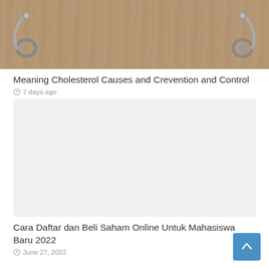[Figure (photo): Photo of a chalkboard sign reading 'Cholesterol' next to a stethoscope on a wooden table surface]
Meaning Cholesterol Causes and Crevention and Control
7 days ago
[Figure (photo): Light gray placeholder image for article thumbnail]
Cara Daftar dan Beli Saham Online Untuk Mahasiswa Baru 2022
June 27, 2022